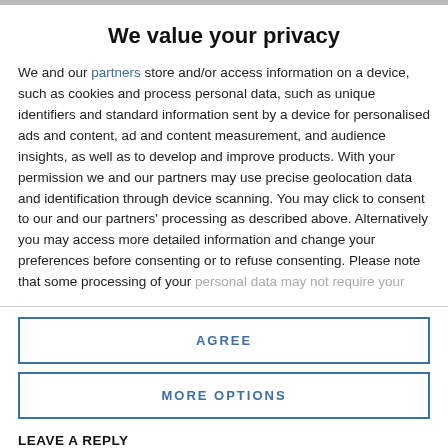We value your privacy
We and our partners store and/or access information on a device, such as cookies and process personal data, such as unique identifiers and standard information sent by a device for personalised ads and content, ad and content measurement, and audience insights, as well as to develop and improve products. With your permission we and our partners may use precise geolocation data and identification through device scanning. You may click to consent to our and our partners' processing as described above. Alternatively you may access more detailed information and change your preferences before consenting or to refuse consenting. Please note that some processing of your personal data may not require your consent, but you have a right to
AGREE
MORE OPTIONS
LEAVE A REPLY